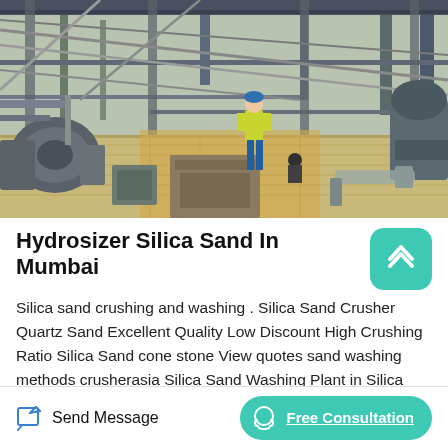[Figure (photo): Industrial silica sand plant with machinery, pipes, conveyor systems, and a worker in yellow safety vest and blue helmet walking through the facility]
Hydrosizer Silica Sand In Mumbai
Silica sand crushing and washing . Silica Sand Crusher Quartz Sand Excellent Quality Low Discount High Crushing Ratio Silica Sand cone stone View quotes sand washing methods crusherasia Silica Sand Washing Plant in Silica Sand pass ISO90012000 with excellent quality and
Send Message
Free Consultation